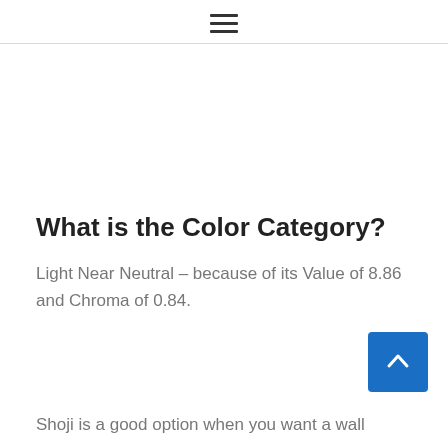≡
What is the Color Category?
Light Near Neutral – because of its Value of 8.86 and Chroma of 0.84.
Shoji is a good option when you want a wall